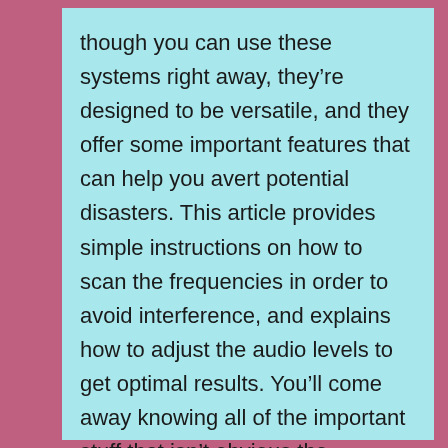though you can use these systems right away, they're designed to be versatile, and they offer some important features that can help you avert potential disasters. This article provides simple instructions on how to scan the frequencies in order to avoid interference, and explains how to adjust the audio levels to get optimal results. You'll come away knowing all of the important stuff that isn't obvious the moment you first pop one out of the package. One of the features of the Sennheiser G3 systems is the availability of 1,680 frequencies; however, if the kit worked the first time you set it up, why would you ever futz with it?